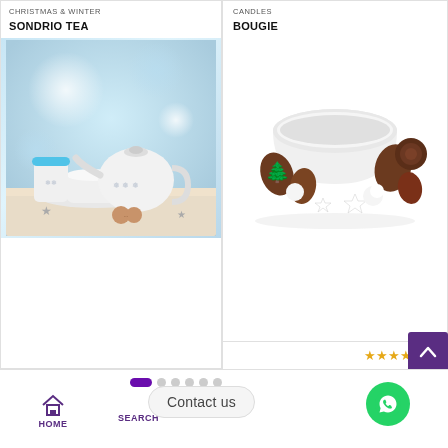CHRISTMAS & WINTER
SONDRIO TEA
[Figure (photo): Tea set with blue-lidded travel mug, white teapot with snowflake design, and white mug on a table cloth with star decorations and cookies, winter blue bokeh background]
CANDLES
BOUGIE
[Figure (photo): White ceramic bowl/candle holder surrounded by pine cones, white stars, and brown decorative balls on white background]
★★★★☆(1)
[Figure (infographic): Pagination dots: one purple pill shape followed by five grey circles]
[Figure (infographic): Home navigation icon with HOME label]
Contact us
[Figure (infographic): WhatsApp green circular button]
[Figure (infographic): Purple back-to-top arrow button]